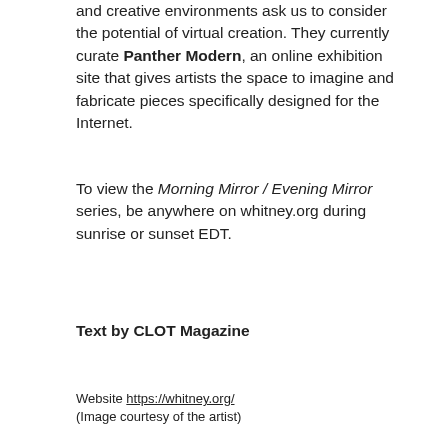and creative environments ask us to consider the potential of virtual creation. They currently curate Panther Modern, an online exhibition site that gives artists the space to imagine and fabricate pieces specifically designed for the Internet.
To view the Morning Mirror / Evening Mirror series, be anywhere on whitney.org during sunrise or sunset EDT.
Text by CLOT Magazine
Website https://whitney.org/ (Image courtesy of the artist)